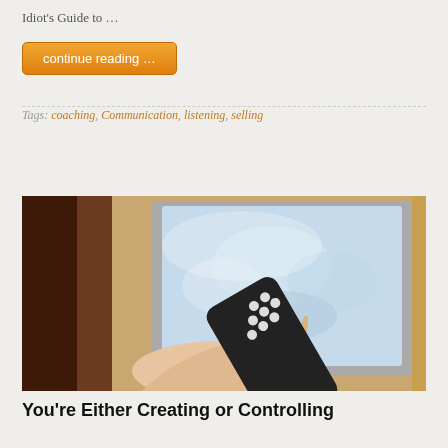Idiot's Guide to ...
continue reading ...
Tags: coaching, Communication, listening, selling
[Figure (photo): A hand holding a TV remote control pointed at a blurry television screen showing a map. Photo taken from a low angle with warm ambient lighting.]
You're Either Creating or Controlling